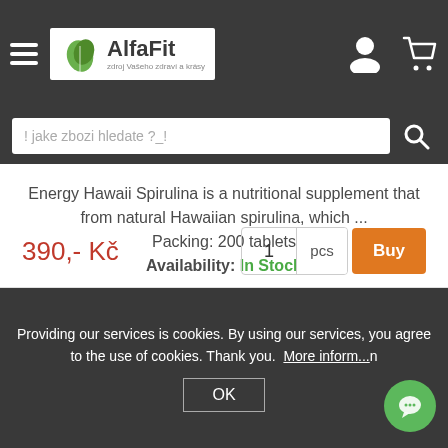AlfaFit - header with logo, hamburger menu, user icon, cart icon
! jake zbozi hledate ?_!
Energy Hawaii Spirulina is a nutritional supplement that from natural Hawaiian spirulina, which ... Packing: 200 tablets Availability: In Stock
390,- Kč   1   pcs   Buy
[Figure (screenshot): Product image of spirulina supplement, partially visible]
ce
Providing our services is cookies. By using our services, you agree to the use of cookies. Thank you. More information
OK